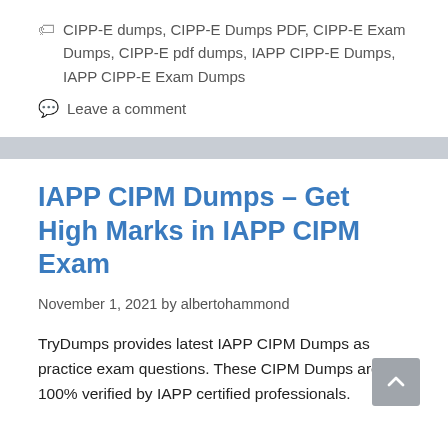🏷 CIPP-E dumps, CIPP-E Dumps PDF, CIPP-E Exam Dumps, CIPP-E pdf dumps, IAPP CIPP-E Dumps, IAPP CIPP-E Exam Dumps
💬 Leave a comment
IAPP CIPM Dumps – Get High Marks in IAPP CIPM Exam
November 1, 2021 by albertohammond
TryDumps provides latest IAPP CIPM Dumps as practice exam questions. These CIPM Dumps are 100% verified by IAPP certified professionals.